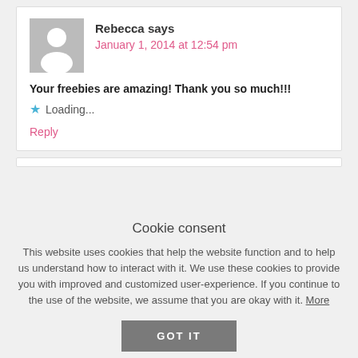Rebecca says
January 1, 2014 at 12:54 pm
Your freebies are amazing! Thank you so much!!!
Loading...
Reply
Cookie consent
This website uses cookies that help the website function and to help us understand how to interact with it. We use these cookies to provide you with improved and customized user-experience. If you continue to the use of the website, we assume that you are okay with it. More
GOT IT